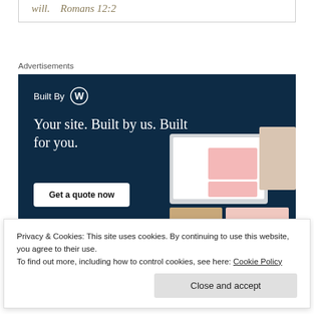will.   Romans 12:2
Advertisements
[Figure (illustration): WordPress 'Built By' advertisement banner with dark navy background. Shows 'Built By' with WordPress logo, headline 'Your site. Built by us. Built for you.', a 'Get a quote now' button, and website screenshots with lifestyle photos on the right side.]
Privacy & Cookies: This site uses cookies. By continuing to use this website, you agree to their use.
To find out more, including how to control cookies, see here: Cookie Policy
Close and accept